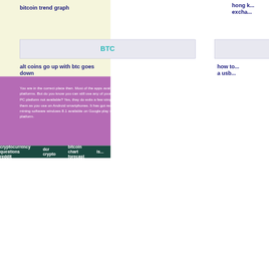bitcoin trend graph
hong k... excha...
BTC
alt coins go up with btc goes down
how to... a usb...
You are in the correct place then. Most of the apps available on Google pla... platforms. But do you know you can still use any of your favorite Android o... PC platform not available? Yes, they do exits a few simple tricks you can u... them as you use on Android smartphones. It has got really good rating poi... mining software windows 8.1 available on Google play store. Most of the a... platform.
cryptocurrency questions reddit   dcr crypto   bitcoin chart forecast   is...